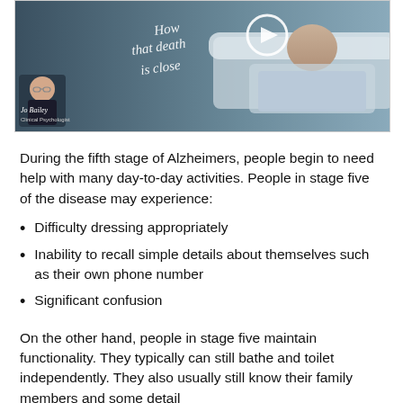[Figure (photo): Video thumbnail showing an elderly person lying in a bed with text overlay reading 'How that death is close' and a woman labeled 'Jo Bailey, Clinical Psychologist' in the lower left corner. A play button circle is visible at the top center.]
During the fifth stage of Alzheimers, people begin to need help with many day-to-day activities. People in stage five of the disease may experience:
Difficulty dressing appropriately
Inability to recall simple details about themselves such as their own phone number
Significant confusion
On the other hand, people in stage five maintain functionality. They typically can still bathe and toilet independently. They also usually still know their family members and some detail